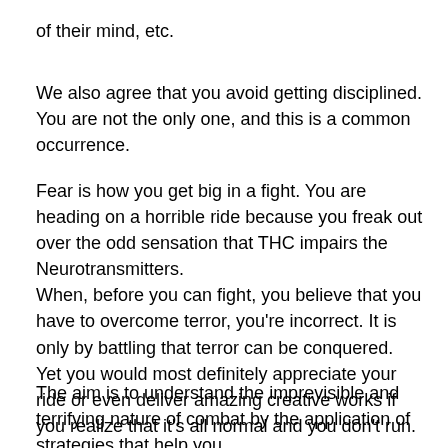of their mind, etc.
We also agree that you avoid getting disciplined. You are not the only one, and this is a common occurrence.
Fear is how you get big in a fight. You are heading on a horrible ride because you freak out over the odd sensation that THC impairs the Neurotransmitters.
When, before you can fight, you believe that you have to overcome terror, you're incorrect. It is only by battling that terror can be conquered.
Yet you would most definitely appreciate your ride or even deliver amazing creative works if you realize that it's all normal and you don't run.
The aim is to understand the imprevisible and terrifying nature of combat by the application of strategies that help you